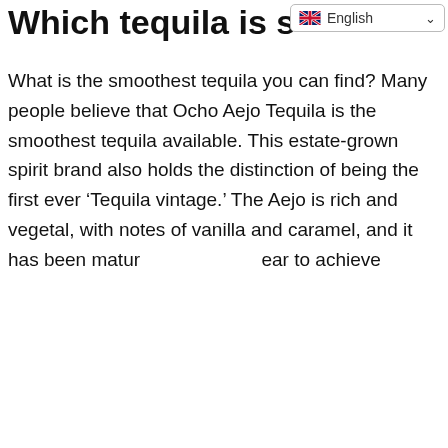Which tequila is s...
[Figure (other): Language selector UI element showing UK flag and 'English' with dropdown chevron]
What is the smoothest tequila you can find? Many people believe that Ocho Aejo Tequila is the smoothest tequila available. This estate-grown spirit brand also holds the distinction of being the first ever ‘Tequila vintage.’ The Aejo is rich and vegetal, with notes of vanilla and caramel, and it has been matured [... text obscured by close button ...] ear to achieve...
[Figure (other): Black close/X button overlay covering part of the body text]
Wha...ol?
Spirytu...ol). Poland...ytus vodka,...ale in New Yo...st